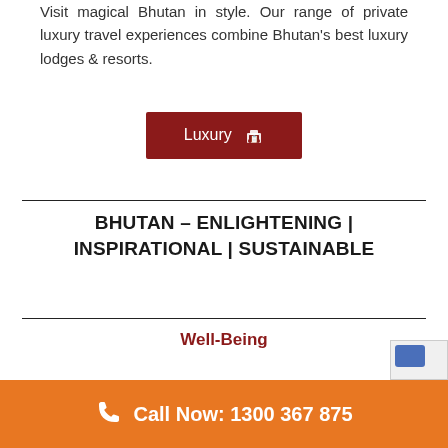Visit magical Bhutan in style. Our range of private luxury travel experiences combine Bhutan's best luxury lodges & resorts.
Luxury
BHUTAN – ENLIGHTENING | INSPIRATIONAL | SUSTAINABLE
Well-Being
Call Now: 1300 367 875